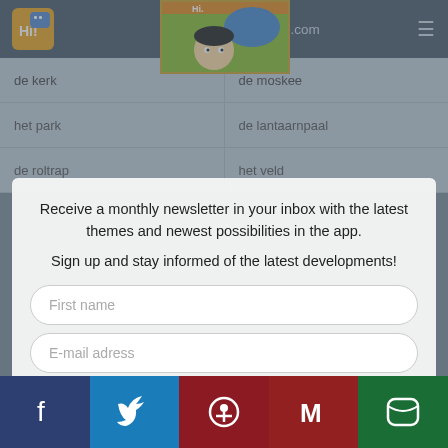[Figure (screenshot): TeachKidsLanguages.com website header with logo character (cartoon girl) and hamburger menu]
de kerk
de moskee
het park
de lantaarnpaal
de roltrap
het veld
Receive a monthly newsletter in your inbox with the latest themes and newest possibilities in the app.
Sign up and stay informed of the latest developments!
First name
E-mail adress
SUBSCRIBE TO OUR NEWSLETTER!
Learn app Dutch with Amy
City theme is one of the 39 themes of the app Learn Languages with Amy. Through games, children playfully increase their vocabulary. The Test module provides parents, teachers, and counselors the ability to follow the child's level and keep track of their progress.
[Figure (screenshot): Bottom social share bar with Facebook, Twitter, Pinterest, Gmail/Google, and WhatsApp buttons]